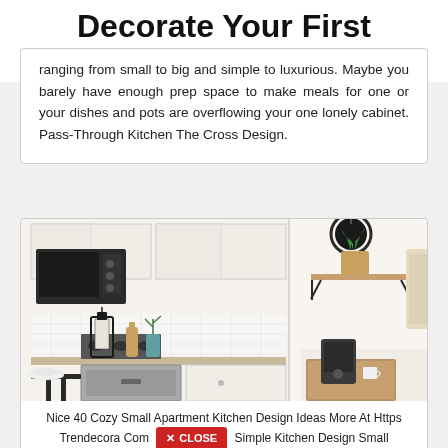Decorate Your First Apartment
ranging from small to big and simple to luxurious. Maybe you barely have enough prep space to make meals for one or your dishes and pots are overflowing your one lonely cabinet. Pass-Through Kitchen The Cross Design.
[Figure (photo): Photo of a small apartment kitchen with white cabinets, a microwave, stovetop, cutting board, lantern decoration, and a plant on a wall-mounted shelf. A second panel shows a coffee maker on a wooden cabinet.]
Nice 40 Cozy Small Apartment Kitchen Design Ideas More At Https Trendecora Com 2019-03-31 Simple Kitchen Design Small Apartment Kitchen Kitchen Design Small